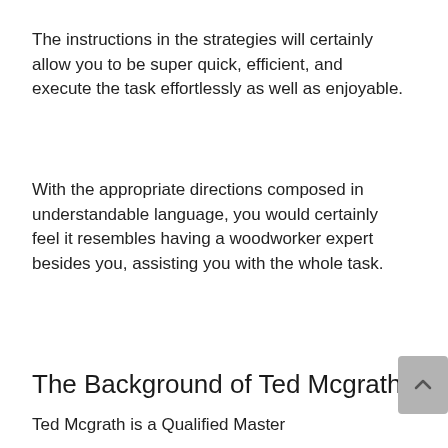The instructions in the strategies will certainly allow you to be super quick, efficient, and execute the task effortlessly as well as enjoyable.
With the appropriate directions composed in understandable language, you would certainly feel it resembles having a woodworker expert besides you, assisting you with the whole task.
The Background of Ted Mcgrath
Ted Mcgrath is a Qualified Master